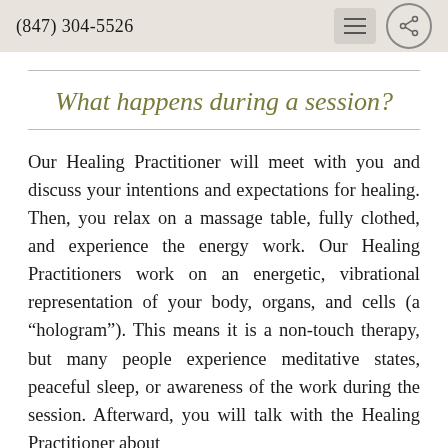(847) 304-5526
What happens during a session?
Our Healing Practitioner will meet with you and discuss your intentions and expectations for healing. Then, you relax on a massage table, fully clothed, and experience the energy work. Our Healing Practitioners work on an energetic, vibrational representation of your body, organs, and cells (a “hologram”). This means it is a non-touch therapy, but many people experience meditative states, peaceful sleep, or awareness of the work during the session. Afterward, you will talk with the Healing Practitioner about